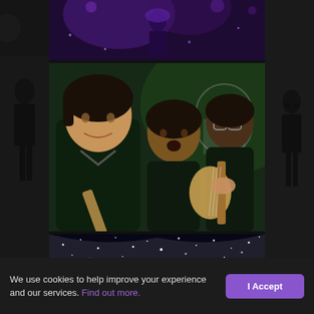[Figure (photo): Top strip: concert stage with purple lighting and performer in background]
[Figure (photo): Left sidebar: dark panel with faint silhouette of person]
[Figure (photo): Right sidebar: dark panel with faint silhouette of person with glasses]
[Figure (photo): Middle main photo: three musicians in dark shirts, one playing electric guitar, green-lit background]
[Figure (photo): Bottom photo strip: concert crowd with raised hands under starry light display]
We use cookies to help improve your experience and our services. Find out more.
I Accept